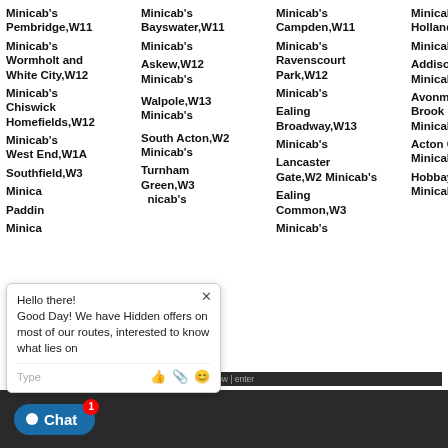Minicab's Pembridge,W11
Minicab's Bayswater,W11
Minicab's Campden,W11
Minicab's Holland,W11
Minicab's Wormholt and White City,W12
Minicab's Askew,W12
Minicab's Ravenscourt Park,W12
Minicab's Addison,W12
Minicab's Chiswick Homefields,W12
Minicab's Walpole,W13
Minicab's Ealing Broadway,W13
Avonmore and Brook Green,W Minicab's
Minicab's West End,W1A
South Acton,W2 Minicab's
Lancaster Gate,W2 Minicab's
Acton Central,W Minicab's
Southfield,W3
Turnham Green,W3 Minicab's
Ealing Common,W3 Minicab's
Hobbayne,W7 Minicab's
Minicab's Paddington
[Figure (screenshot): Chat widget popup with message: Hello there! Good Day! We have Hidden offers on most of our routes, interested to know what lies on... Chat Now button at bottom with badge showing 1]